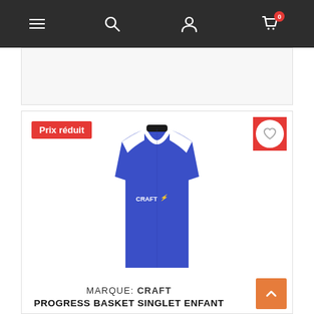Navigation bar with menu, search, account, and cart (0 items) icons
[Figure (screenshot): Ad banner placeholder area]
Prix réduit
[Figure (photo): Blue and white Craft Progress Basket Singlet Enfant sleeveless basketball jersey on white background]
MARQUE: CRAFT
PROGRESS BASKET SINGLET ENFANT
[Figure (other): Star rating with approximately 4 stars shown in orange/gold]